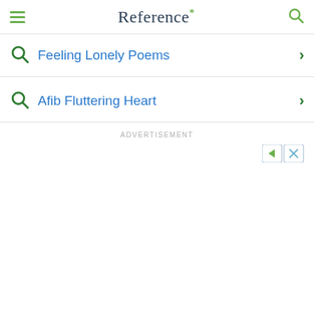Reference*
Feeling Lonely Poems
Afib Fluttering Heart
ADVERTISEMENT